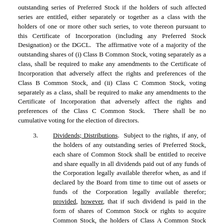outstanding series of Preferred Stock if the holders of such affected series are entitled, either separately or together as a class with the holders of one or more other such series, to vote thereon pursuant to this Certificate of Incorporation (including any Preferred Stock Designation) or the DGCL.  The affirmative vote of a majority of the outstanding shares of (i) Class B Common Stock, voting separately as a class, shall be required to make any amendments to the Certificate of Incorporation that adversely affect the rights and preferences of the Class B Common Stock, and (ii) Class C Common Stock, voting separately as a class, shall be required to make any amendments to the Certificate of Incorporation that adversely affect the rights and preferences of the Class C Common Stock.  There shall be no cumulative voting for the election of directors.
3.  Dividends; Distributions.  Subject to the rights, if any, of the holders of any outstanding series of Preferred Stock, each share of Common Stock shall be entitled to receive and share equally in all dividends paid out of any funds of the Corporation legally available therefor when, as and if declared by the Board from time to time out of assets or funds of the Corporation legally available therefor; provided, however, that if such dividend is paid in the form of shares of Common Stock or rights to acquire Common Stock, the holders of Class A Common Stock shall receive Class A Common Stock or rights to acquire Class A Common Stock, as the case may be, the holders of Class B Common Stock shall receive Class B Common Stock or rights to acquire Class B Common Stock, as the case may be, and the holders of Class C Common Stock shall receive Class C Common Stock or rights to acquire Class C Common Stock, as the case may be.
4.  Changes in Capitalization.  If there is an increase or